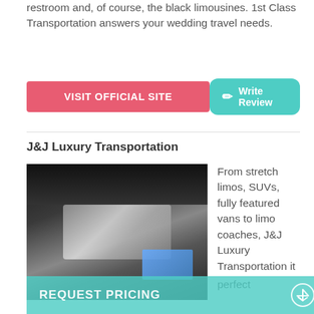restroom and, of course, the black limousines. 1st Class Transportation answers your wedding travel needs.
VISIT OFFICIAL SITE
Write Review
J&J Luxury Transportation
[Figure (photo): Interior of a luxury limousine showing chrome accents, overhead entertainment system, and a monitor screen]
From stretch limos, SUVs, fully featured vans to limo coaches, J&J Luxury Transportation it perfect
REQUEST PRICING